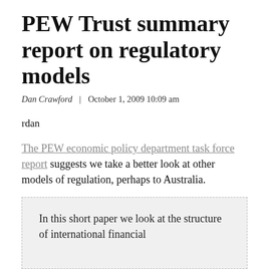PEW Trust summary report on regulatory models
Dan Crawford | October 1, 2009 10:09 am
rdan
The PEW economic policy department task force report suggests we take a better look at other models of regulation, perhaps to Australia.
In this short paper we look at the structure of international financial